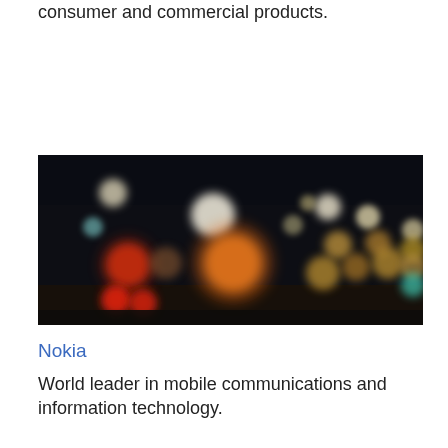consumer and commercial products.
[Figure (photo): Blurred bokeh night scene with colorful out-of-focus lights including orange, red, white, and teal circles against a dark background.]
Nokia
World leader in mobile communications and information technology.